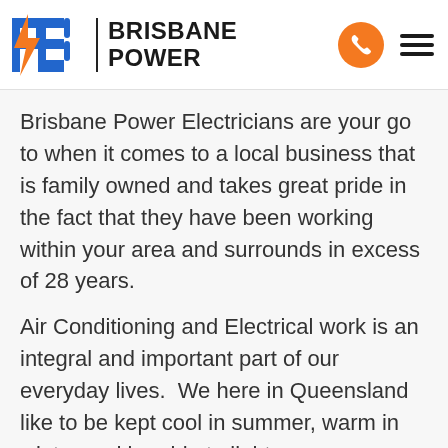BPE | BRISBANE POWER
Brisbane Power Electricians are your go to when it comes to a local business that is family owned and takes great pride in the fact that they have been working within your area and surrounds in excess of 28 years.
Air Conditioning and Electrical work is an integral and important part of our everyday lives.  We here in Queensland like to be kept cool in summer, warm in winter and be able to light up our space optimally and efficiently at home and in our workplace.  We have all your solutions.  We are a one stop